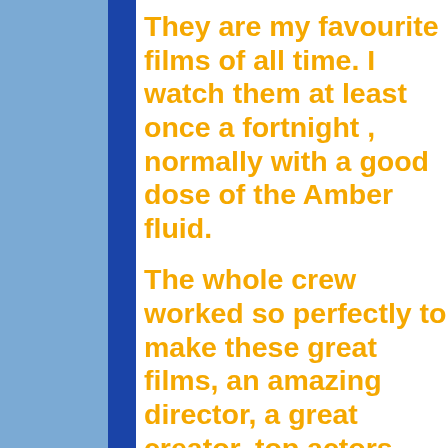They are my favourite films of all time. I watch them at least once a fortnight , normally with a good dose of the Amber fluid.
The whole crew worked so perfectly to make these great films, an amazing director, a great creator, top actors and an amazing list of other people whose top work helped to make these films so great.
For any one who is unlucky enough to not have seen them, the story goes like this.